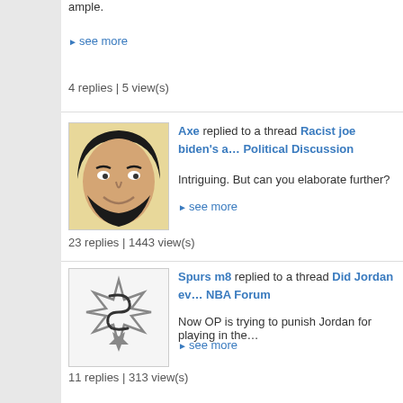ample.
▶ see more
4 replies | 5 view(s)
Axe replied to a thread Racist joe biden's a… Political Discussion
Intriguing. But can you elaborate further?
▶ see more
23 replies | 1443 view(s)
Spurs m8 replied to a thread Did Jordan ev… NBA Forum
Now OP is trying to punish Jordan for playing in the…
▶ see more
11 replies | 313 view(s)
Kblaze8855 started a thread You watch the… Iverson should sue. in NBA Forum
He's obviously full of shit in ways and his bookie frie…